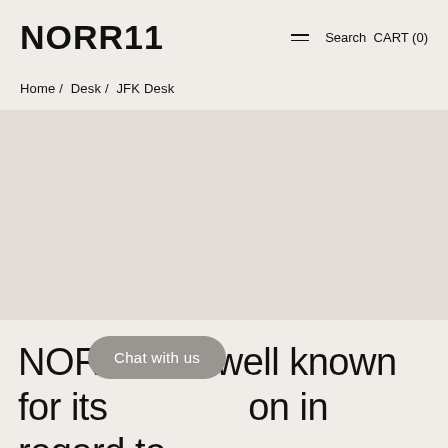NORR11  ≡ Search CART (0)
Home / Desk / JFK Desk
[Figure (photo): Large grey/beige image placeholder area for product photo of JFK Desk]
NORR11 is well known for its [Chat with us] on in regard to customizations. The possibility of